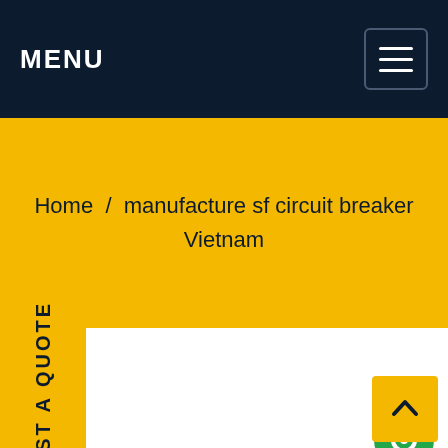MENU
Home / manufacture sf circuit breaker Vietnam
REQUEST A QUOTE
[Figure (illustration): Green circular chat/message bubble icon]
[Figure (illustration): Yellow back-to-top button with upward chevron arrow]